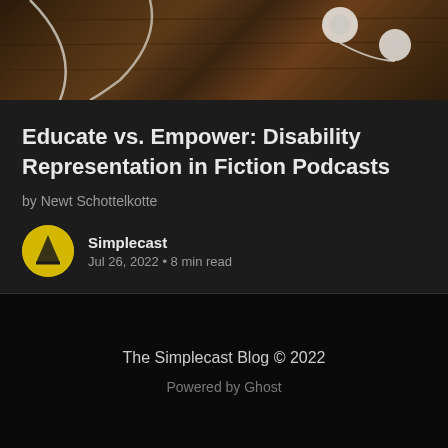[Figure (photo): Photo of earbuds/headphones on a wooden surface background]
Educate vs. Empower: Disability Representation in Fiction Podcasts
by Newt Schottelkotte
Simplecast
Jul 26, 2022 • 8 min read
The Simplecast Blog © 2022
Powered by Ghost